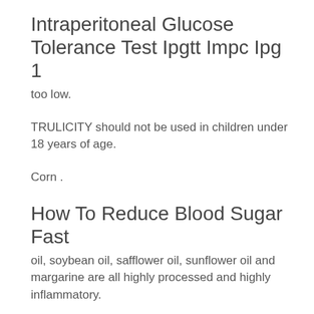Intraperitoneal Glucose Tolerance Test Ipgtt Impc Ipg 1
too low.
TRULICITY should not be used in children under 18 years of age.
Corn .
How To Reduce Blood Sugar Fast
oil, soybean oil, safflower oil, sunflower oil and margarine are all highly processed and highly inflammatory.